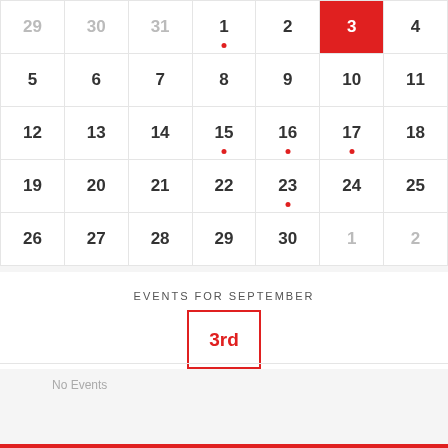| Sun | Mon | Tue | Wed | Thu | Fri | Sat |
| --- | --- | --- | --- | --- | --- | --- |
| 29 | 30 | 31 | 1 | 2 | 3 | 4 |
| 5 | 6 | 7 | 8 | 9 | 10 | 11 |
| 12 | 13 | 14 | 15 | 16 | 17 | 18 |
| 19 | 20 | 21 | 22 | 23 | 24 | 25 |
| 26 | 27 | 28 | 29 | 30 | 1 | 2 |
EVENTS FOR SEPTEMBER
3rd
No Events